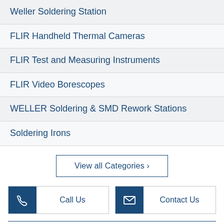Weller Soldering Station
FLIR Handheld Thermal Cameras
FLIR Test and Measuring Instruments
FLIR Video Borescopes
WELLER Soldering & SMD Rework Stations
Soldering Irons
View all Categories ›
Call Us
Contact Us
Reach Us :